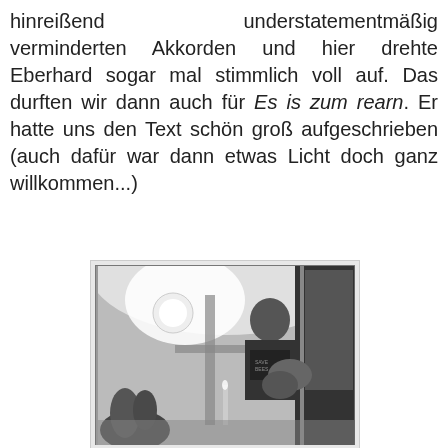hinreißend understatementmäßig verminderten Akkorden und hier drehte Eberhard sogar mal stimmlich voll auf. Das durften wir dann auch für Es is zum rearn. Er hatte uns den Text schön groß aufgeschrieben (auch dafür war dann etwas Licht doch ganz willkommen...)
[Figure (photo): Black and white photograph of a person playing guitar indoors, with a lamp and candles visible in the background.]